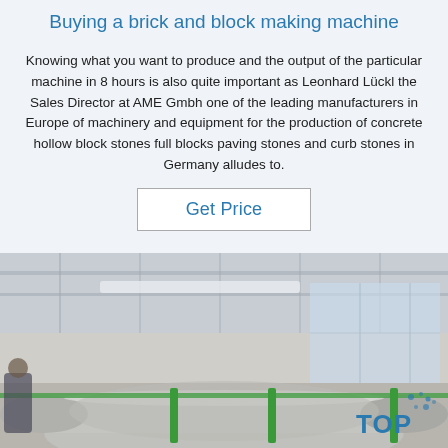Buying a brick and block making machine
Knowing what you want to produce and the output of the particular machine in 8 hours is also quite important as Leonhard Lückl the Sales Director at AME Gmbh one of the leading manufacturers in Europe of machinery and equipment for the production of concrete hollow block stones full blocks paving stones and curb stones in Germany alludes to.
Get Price
[Figure (photo): Factory interior showing large metal cylinders/rollers bundled with green strapping on the floor of an industrial warehouse with high ceilings, windows along the side wall, and a worker visible at the left edge. A 'TOP' logo watermark appears in the lower right.]